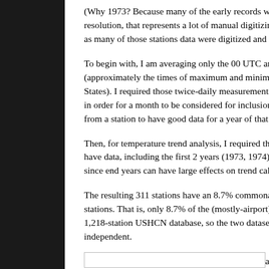(Why 1973? Because many of the early records were on paper resolution, that represents a lot of manual digitizing. Appare as many of those stations data were digitized and archived).
To begin with, I am averaging only the 00 UTC and 12 UTC (approximately the times of maximum and minimum tempe States). I required those twice-daily measurements to be rep in order for a month to be considered for inclusion, and ther from a station to have good data for a year of that station's d
Then, for temperature trend analysis, I required that 90% of have data, including the first 2 years (1973, 1974) and the la since end years can have large effects on trend calculations.
The resulting 311 stations have an 8.7% commonality with stations. That is, only 8.7% of the (mostly-airport) stations a 1,218-station USHCN database, so the two datasets are mos independent.
I then plotted the Fig. 2 equivalent for the ISD stations (Fig